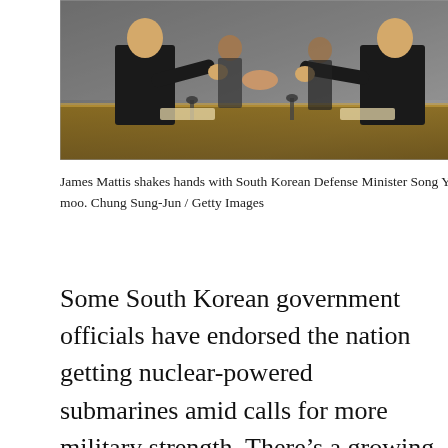[Figure (photo): James Mattis shaking hands with South Korean Defense Minister Song Young-moo at a meeting table, with other officials seated around them.]
James Mattis shakes hands with South Korean Defense Minister Song Young-moo. Chung Sung-Jun / Getty Images
Some South Korean government officials have endorsed the nation getting nuclear-powered submarines amid calls for more military strength. There’s a growing concern among the South Korean public that North Korea’s expanding nuclear weapons arsenal, which may soon include an intercontinental ballistic missile that could target the U.S. mainland, would undermine Seoul’s alliance with Washington